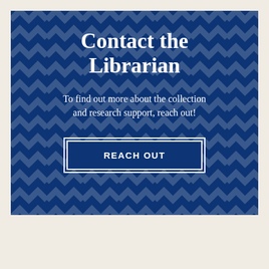Contact the Librarian
To find out more about the collection and research support, reach out!
REACH OUT